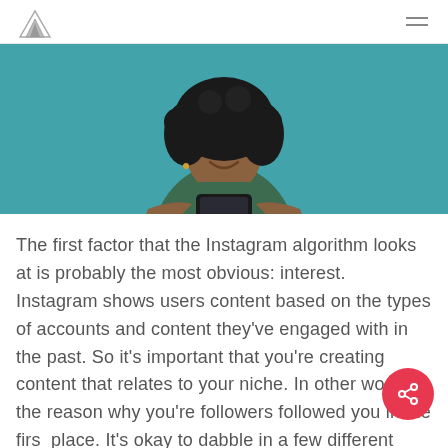[Logo] [Hamburger menu]
[Figure (photo): A young woman with curly hair smiling, wearing a dark green t-shirt, holding a smartphone against a teal/blue background.]
The first factor that the Instagram algorithm looks at is probably the most obvious: interest. Instagram shows users content based on the types of accounts and content they've engaged with in the past. So it's important that you're creating content that relates to your niche. In other words the reason why you're followers followed you in the first place. It's okay to dabble in a few different areas, say like beauty and fashion or travel and food. Just be